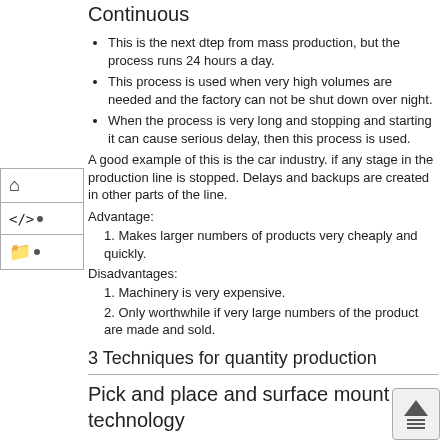Continuous
This is the next dtep from mass production, but the process runs 24 hours a day.
This process is used when very high volumes are needed and the factory can not be shut down over night.
When the process is very long and stopping and starting it can cause serious delay, then this process is used.
A good example of this is the car industry. if any stage in the production line is stopped. Delays and backups are created in other parts of the line.
Advantage:
1. Makes larger numbers of products very cheaply and quickly.
Disadvantages:
1. Machinery is very expensive.
2. Only worthwhile if very large numbers of the product are made and sold.
3 Techniques for quantity production
Pick and place and surface mount technology